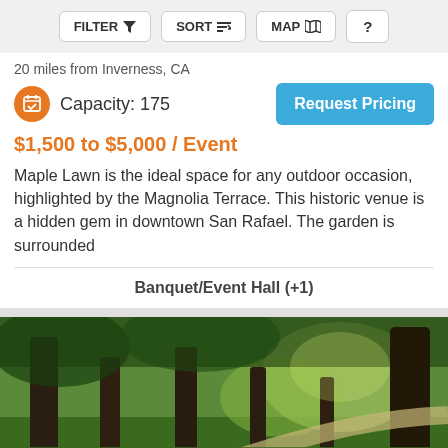FILTER   SORT   MAP   ?
20 miles from Inverness, CA
Capacity: 175
Request Pricing
$1,500 to $5,000 / Event
Maple Lawn is the ideal space for any outdoor occasion, highlighted by the Magnolia Terrace. This historic venue is a hidden gem in downtown San Rafael. The garden is surrounded
Banquet/Event Hall (+1)
[Figure (photo): Outdoor park scene with tall trees, sunlit grass, and a winding path]